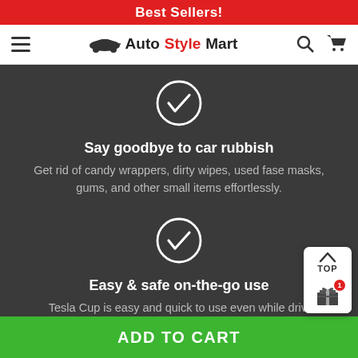Best Sellers!
[Figure (logo): Auto Style Mart logo with car silhouette icon; hamburger menu icon on left; search and cart icons on right]
[Figure (illustration): White checkmark inside white circle on dark grey background]
Say goodbye to car rubbish
Get rid of candy wrappers, dirty wipes, used fase masks, gums, and other small items effortlessly.
[Figure (illustration): White checkmark inside white circle on dark grey background]
Easy & safe on-the-go use
Tesla Cup is easy and quick to use even while drivi
[Figure (illustration): TOP button with upward caret arrow and gift box icon with red badge showing 1]
ADD TO CART